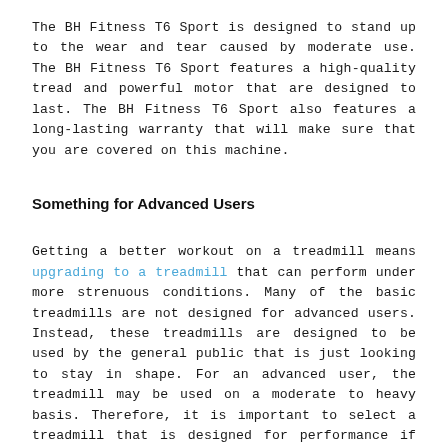The BH Fitness T6 Sport is designed to stand up to the wear and tear caused by moderate use. The BH Fitness T6 Sport features a high-quality tread and powerful motor that are designed to last. The BH Fitness T6 Sport also features a long-lasting warranty that will make sure that you are covered on this machine.
Something for Advanced Users
Getting a better workout on a treadmill means upgrading to a treadmill that can perform under more strenuous conditions. Many of the basic treadmills are not designed for advanced users. Instead, these treadmills are designed to be used by the general public that is just looking to stay in shape. For an advanced user, the treadmill may be used on a moderate to heavy basis. Therefore, it is important to select a treadmill that is designed for performance if you want your treadmill to help you to take your training to the next level.